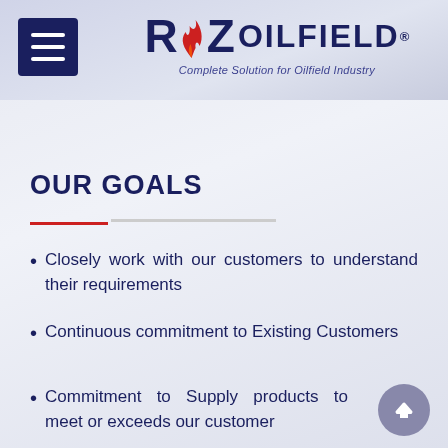RAZ OILFIELD - Complete Solution for Oilfield Industry
OUR GOALS
Closely work with our customers to understand their requirements
Continuous commitment to Existing Customers
Commitment to Supply products to meet or exceeds our customer